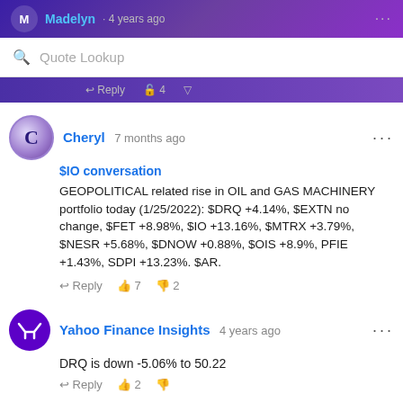Madelyn · Quote Lookup search bar
Reply · 4 · (thumbs down)
Cheryl 7 months ago
$IO conversation
GEOPOLITICAL related rise in OIL and GAS MACHINERY portfolio today (1/25/2022): $DRQ +4.14%, $EXTN no change, $FET +8.98%, $IO +13.16%, $MTRX +3.79%, $NESR +5.68%, $DNOW +0.88%, $OIS +8.9%, PFIE +1.43%, SDPI +13.23%. $AR.
Reply · 7 · 2
Yahoo Finance Insights 4 years ago
DRQ is down -5.06% to 50.22
Reply · 2 · (thumbs down)